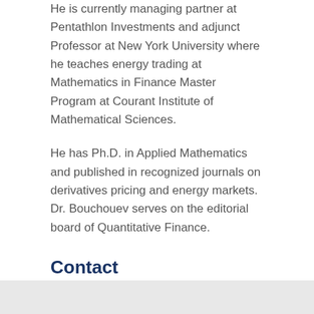He is currently managing partner at Pentathlon Investments and adjunct Professor at New York University where he teaches energy trading at Mathematics in Finance Master Program at Courant Institute of Mathematical Sciences.
He has Ph.D. in Applied Mathematics and published in recognized journals on derivatives pricing and energy markets. Dr. Bouchouev serves on the editorial board of Quantitative Finance.
Contact
Email: ib@pentinv.com; Twitter: @IliaBouchouev